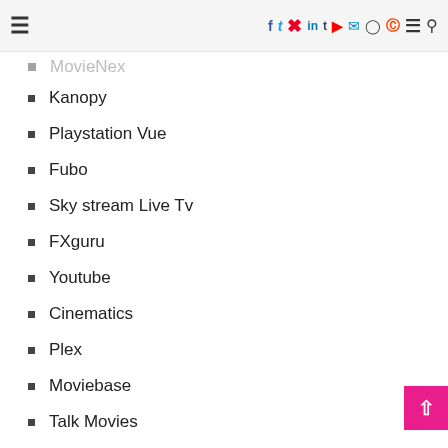Navigation bar with social icons
MovieNex
Kanopy
Playstation Vue
Fubo
Sky stream Live Tv
FXguru
Youtube
Cinematics
Plex
Moviebase
Talk Movies
Steps to Download Okkadu Full Movie
Here are the important steps you need to follow to download